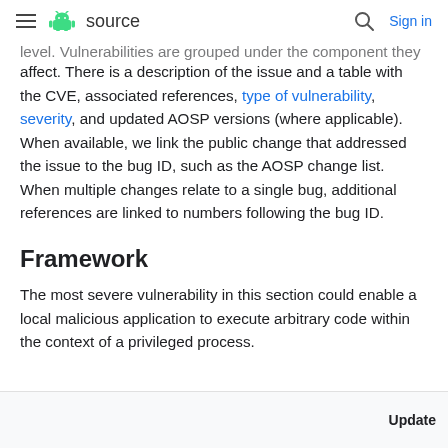≡  source   🔍  Sign in
level. Vulnerabilities are grouped under the component they affect. There is a description of the issue and a table with the CVE, associated references, type of vulnerability, severity, and updated AOSP versions (where applicable). When available, we link the public change that addressed the issue to the bug ID, such as the AOSP change list. When multiple changes relate to a single bug, additional references are linked to numbers following the bug ID.
Framework
The most severe vulnerability in this section could enable a local malicious application to execute arbitrary code within the context of a privileged process.
| Update |
| --- |